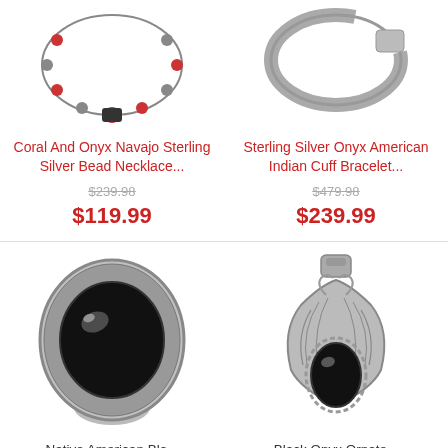[Figure (photo): Coral and Onyx Navajo Sterling Silver Bead Necklace product photo]
[Figure (photo): Sterling Silver Onyx American Indian Cuff Bracelet product photo]
Coral And Onyx Navajo Sterling Silver Bead Necklace...
Sterling Silver Onyx American Indian Cuff Bracelet...
$239.98
$119.99
$479.98
$239.99
[Figure (photo): Native American Black onyx ring with large oval black stone in sterling silver setting]
[Figure (photo): Black Onyx pendant with teardrop stone in decorative sterling silver feather setting]
Native American Bla...
Black Onyx Ornate...